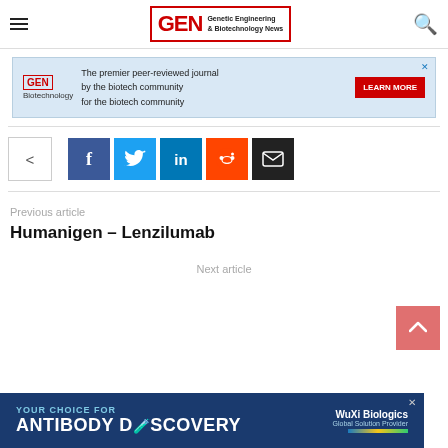GEN Genetic Engineering & Biotechnology News
[Figure (screenshot): Advertisement banner for GEN Biotechnology journal: 'The premier peer-reviewed journal by the biotech community for the biotech community' with LEARN MORE button]
[Figure (infographic): Social share buttons row: share toggle, Facebook, Twitter, LinkedIn, Reddit, Email]
Previous article
Humanigen – Lenzilumab
Next article
[Figure (screenshot): Advertisement banner: YOUR CHOICE FOR ANTIBODY DISCOVERY - WuXi Biologics]